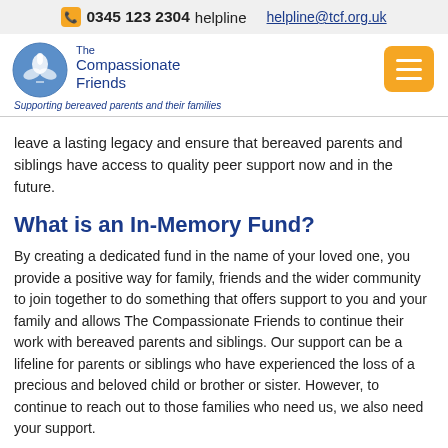0345 123 2304 helpline   helpline@tcf.org.uk
[Figure (logo): The Compassionate Friends logo — a circular blue emblem with a dove and hands, with organisation name 'The Compassionate Friends' and tagline 'Supporting bereaved parents and their families']
leave a lasting legacy and ensure that bereaved parents and siblings have access to quality peer support now and in the future.
What is an In-Memory Fund?
By creating a dedicated fund in the name of your loved one, you provide a positive way for family, friends and the wider community to join together to do something that offers support to you and your family and allows The Compassionate Friends to continue their work with bereaved parents and siblings. Our support can be a lifeline for parents or siblings who have experienced the loss of a precious and beloved child or brother or sister. However, to continue to reach out to those families who need us, we also need your support.